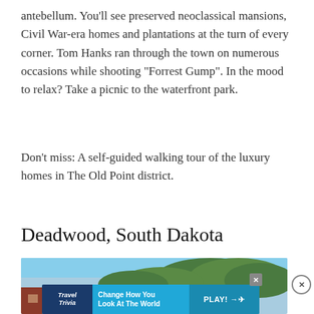antebellum. You'll see preserved neoclassical mansions, Civil War-era homes and plantations at the turn of every corner. Tom Hanks ran through the town on numerous occasions while shooting "Forrest Gump". In the mood to relax? Take a picnic to the waterfront park.
Don't miss: A self-guided walking tour of the luxury homes in The Old Point district.
Deadwood, South Dakota
[Figure (photo): Street-level photo of Deadwood, South Dakota showing brick buildings, a Bodega sign, and tree-covered hills in the background under a blue sky.]
[Figure (infographic): Travel Trivia advertisement banner: 'Change How You Look At The World' with a PLAY button and arrow/airplane icon.]